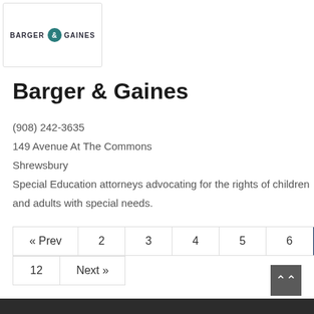[Figure (logo): Barger & Gaines law firm logo with teal circle ampersand]
Barger & Gaines
(908) 242-3635
149 Avenue At The Commons
Shrewsbury
Special Education attorneys advocating for the rights of children and adults with special needs.
Pagination: « Prev 2 3 4 5 6 7 (current) 8 9 10 11 12 Next »